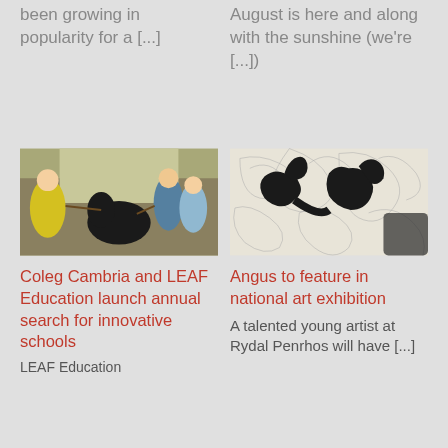been growing in popularity for a [...]
August is here and along with the sunshine (we're [...])
[Figure (photo): A woman in a yellow top and several students handling a black calf in a barn setting]
Coleg Cambria and LEAF Education launch annual search for innovative schools
LEAF Education
[Figure (illustration): Black and white illustration of stylized animal shapes with intricate patterned background]
Angus to feature in national art exhibition
A talented young artist at Rydal Penrhos will have [...]